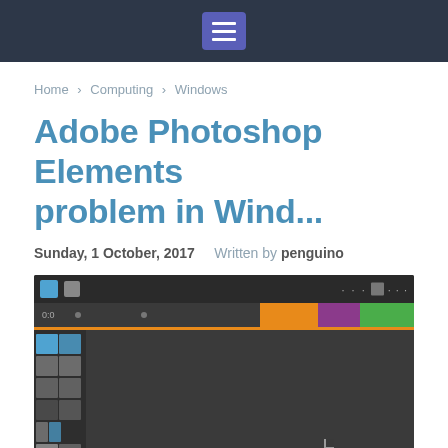Navigation menu icon
Home > Computing > Windows
Adobe Photoshop Elements problem in Wind...
Sunday, 1 October, 2017    Written by penguino
[Figure (screenshot): Screenshot of Adobe Photoshop Elements application showing a dark UI with a toolbar on the left side, a timeline at the top with orange, purple, and green color blocks, an orange horizontal line, and the main dark canvas area with a cursor visible.]